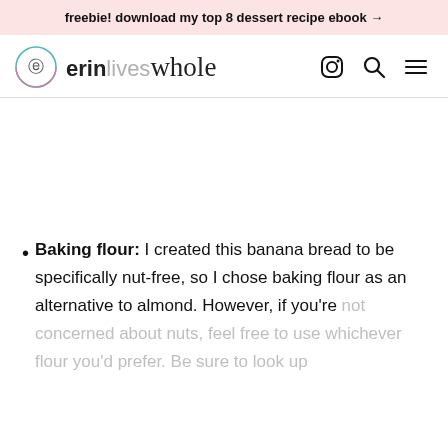freebie! download my top 8 dessert recipe ebook →
erin lives whole [logo with nav icons]
Baking flour: I created this banana bread to be specifically nut-free, so I chose baking flour as an alternative to almond. However, if you're not concerned about nuts, feel free to use whichever flour you'd prefer. Be sure to look up